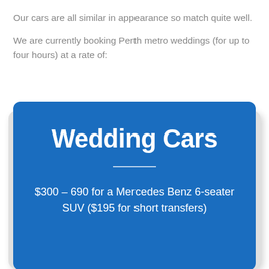Our cars are all similar in appearance so match quite well.
We are currently booking Perth metro weddings (for up to four hours) at a rate of:
[Figure (infographic): Blue rounded card with white text reading 'Wedding Cars' as a large bold title, a horizontal white divider line, and below it '$300 – 690 for a Mercedes Benz 6-seater SUV ($195 for short transfers)']
$300 – 690 for a Mercedes Benz 6-seater SUV ($195 for short transfers)